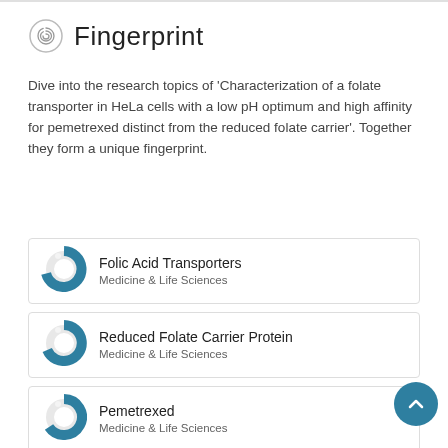Fingerprint
Dive into the research topics of 'Characterization of a folate transporter in HeLa cells with a low pH optimum and high affinity for pemetrexed distinct from the reduced folate carrier'. Together they form a unique fingerprint.
Folic Acid Transporters — Medicine & Life Sciences
Reduced Folate Carrier Protein — Medicine & Life Sciences
Pemetrexed — Medicine & Life Sciences
HeLa Cells — Medicine & Life Sciences